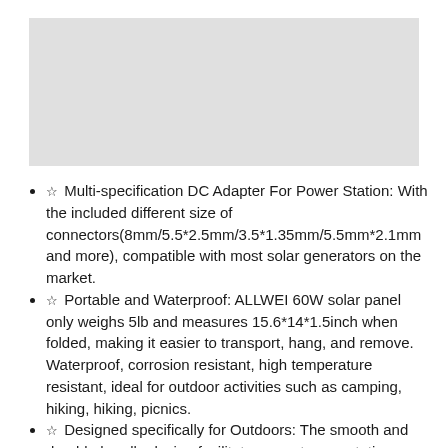[Figure (photo): Gray placeholder image area for product photo]
☆ Multi-specification DC Adapter For Power Station: With the included different size of connectors(8mm/5.5*2.5mm/3.5*1.35mm/5.5mm*2.1mm and more), compatible with most solar generators on the market.
☆ Portable and Waterproof: ALLWEI 60W solar panel only weighs 5lb and measures 15.6*14*1.5inch when folded, making it easier to transport, hang, and remove. Waterproof, corrosion resistant, high temperature resistant, ideal for outdoor activities such as camping, hiking, hiking, picnics.
☆ Designed specifically for Outdoors: The smooth and durable handle design facilitates easy transportation outdoors, and the two back Kickstands allow the solar panel to stand firmly on the ground. The perfect tilt helps absorb the maximum amount of sunlight.